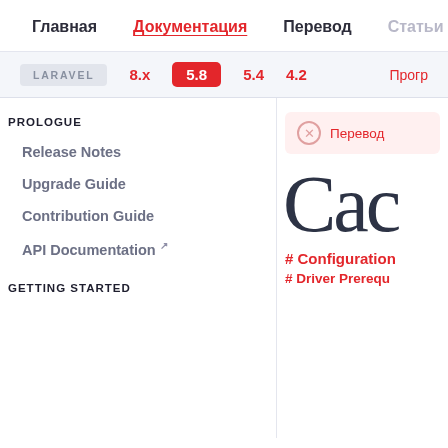Главная | Документация | Перевод | Статьи
LARAVEL  8.x  5.8  5.4  4.2  Прогр
PROLOGUE
Release Notes
Upgrade Guide
Contribution Guide
API Documentation
GETTING STARTED
Перевод
Сас
# Configuration
# Driver Prerequ